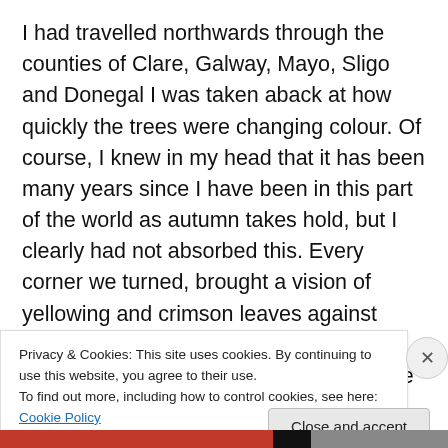I had travelled northwards through the counties of Clare, Galway, Mayo, Sligo and Donegal I was taken aback at how quickly the trees were changing colour. Of course, I knew in my head that it has been many years since I have been in this part of the world as autumn takes hold, but I clearly had not absorbed this. Every corner we turned, brought a vision of yellowing and crimson leaves against evergreen and slower-to-turn green leaves. The colours continued to surprise me as I travelled Scotland-ward through Derry and Belfast and across the water to Cairnryan. The last time I experienced autumn was in
Privacy & Cookies: This site uses cookies. By continuing to use this website, you agree to their use.
To find out more, including how to control cookies, see here: Cookie Policy
Close and accept